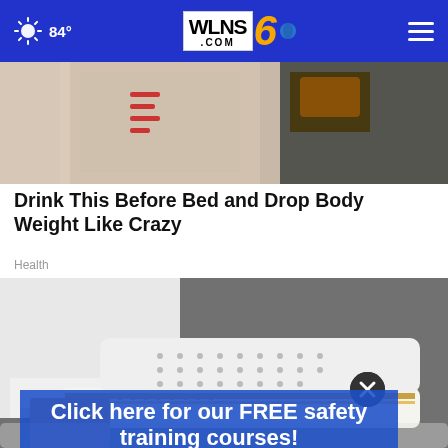84° WLNS6.COM
[Figure (photo): Close-up photo of a water bottle or container with red markings, partially cropped at top]
Drink This Before Bed and Drop Body Weight Like Crazy
Health
[Figure (photo): Close-up photo of white slip-on sneakers with gold stud detailing worn with white jeans on pavement]
Click here for our FREE safety training courses!